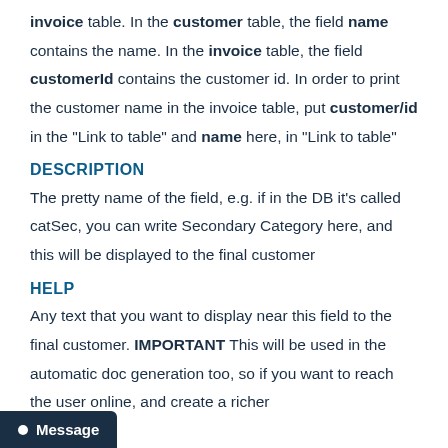invoice table. In the customer table, the field name contains the name. In the invoice table, the field customerId contains the customer id. In order to print the customer name in the invoice table, put customer/id in the "Link to table" and name here, in "Link to table"
DESCRIPTION
The pretty name of the field, e.g. if in the DB it's called catSec, you can write Secondary Category here, and this will be displayed to the final customer
HELP
Any text that you want to display near this field to the final customer. IMPORTANT This will be used in the automatic doc generation too, so if you want to reach the user online, and create a richer